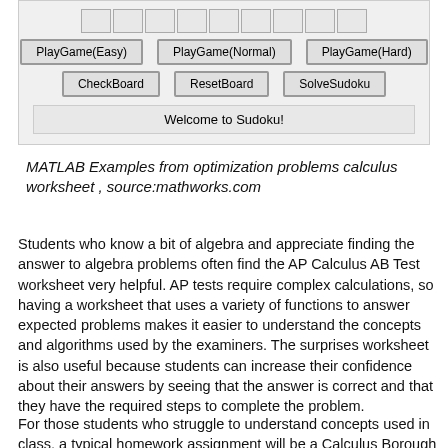[Figure (screenshot): A Sudoku game UI with a grid of cells and buttons: PlayGame(Easy), PlayGame(Normal), PlayGame(Hard), CheckBoard, ResetBoard, SolveSudoku, and a 'Welcome to Sudoku!' status bar.]
MATLAB Examples from optimization problems calculus worksheet , source:mathworks.com
Students who know a bit of algebra and appreciate finding the answer to algebra problems often find the AP Calculus AB Test worksheet very helpful. AP tests require complex calculations, so having a worksheet that uses a variety of functions to answer expected problems makes it easier to understand the concepts and algorithms used by the examiners. The surprises worksheet is also useful because students can increase their confidence about their answers by seeing that the answer is correct and that they have the required steps to complete the problem.
For those students who struggle to understand concepts used in class, a typical homework assignment will be a Calculus Borough